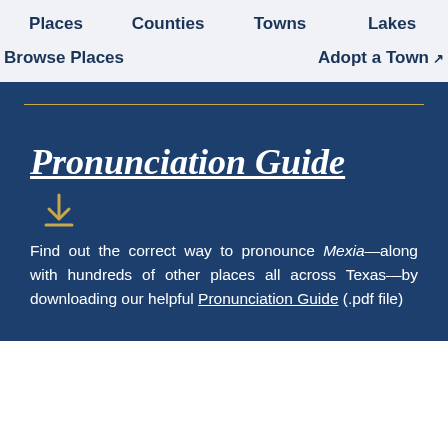Places   Counties   Towns   Lakes
Browse Places   Adopt a Town
Pronunciation Guide
Find out the correct way to pronounce Mexia—along with hundreds of other places all across Texas—by downloading our helpful Pronunciation Guide (.pdf file)